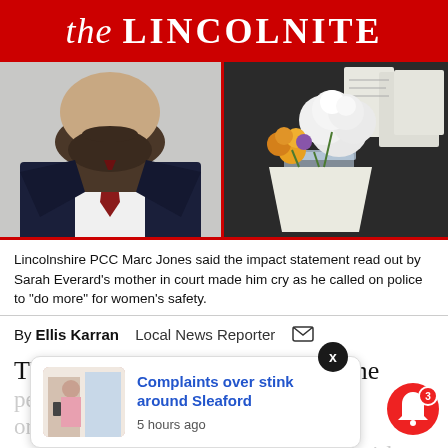the LINCOLNITE
[Figure (photo): Left: Man in suit with dark beard and red tie, cropped at chin level. Right: White and yellow flower bouquets on a dark surface with papers.]
Lincolnshire PCC Marc Jones said the impact statement read out by Sarah Everard's mother in court made him cry as he called on police to "do more" for women's safety.
By Ellis Karran   Local News Reporter  ✉
The Lincolnshire Police and Crime
[Figure (screenshot): Popup notification card with image of woman on phone, heading 'Complaints over stink around Sleaford', timestamp '5 hours ago']
pendent ork on tackling violence against women and girls